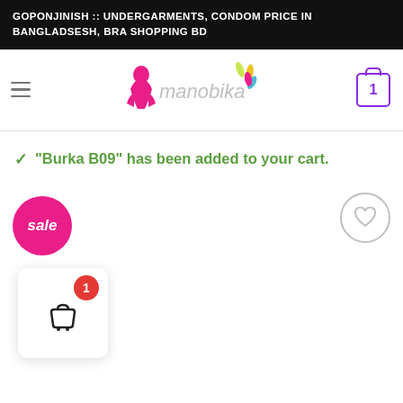GOPONJINISH :: UNDERGARMENTS, CONDOM PRICE IN BANGLADSESH, BRA SHOPPING BD
[Figure (logo): Manobika logo with pink woman silhouette and colorful leaf design]
"Burka B09" has been added to your cart.
[Figure (other): Pink sale badge circle with text 'sale']
[Figure (other): Gray outlined heart wishlist circle icon]
[Figure (other): Floating cart icon widget with red badge showing number 1]